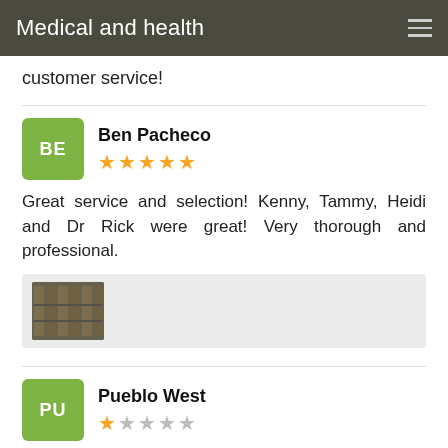Medical and health
customer service!
Ben Pacheco
★★★★★
Great service and selection! Kenny, Tammy, Heidi and Dr Rick were great! Very thorough and professional.
[Figure (photo): Small thumbnail photo of store shelving with products]
Pueblo West
★☆☆☆☆
over $100 out of pocket for a contact and glasses exam